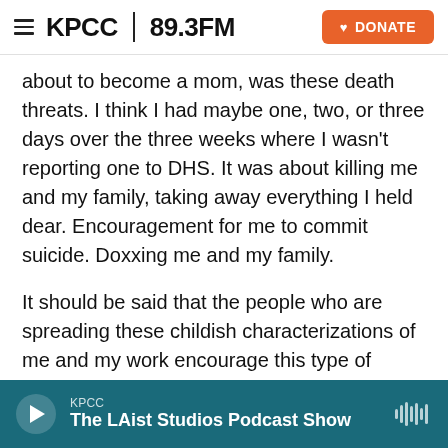KPCC 89.3FM | DONATE
about to become a mom, was these death threats. I think I had maybe one, two, or three days over the three weeks where I wasn't reporting one to DHS. It was about killing me and my family, taking away everything I held dear. Encouragement for me to commit suicide. Doxxing me and my family.
It should be said that the people who are spreading these childish characterizations of me and my work encourage this type of behavior online, whether or not they say those words themselves.
How has this experience changed the way you see the challenge of disinformation?
KPCC | The LAist Studios Podcast Show